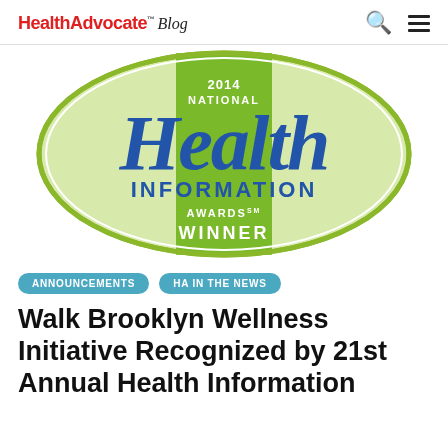HealthAdvocate™ Blog
[Figure (logo): 2014 National Health Information Awards Winner seal — green oval with script 'Health' text and bold 'INFORMATION' and 'WINNER' text]
ANNOUNCEMENTS
HA IN THE NEWS
Walk Brooklyn Wellness Initiative Recognized by 21st Annual Health Information